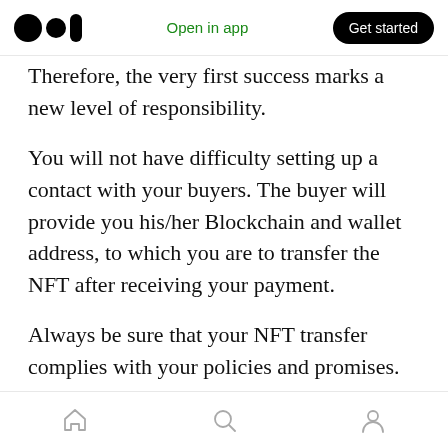Open in app | Get started
Therefore, the very first success marks a new level of responsibility.
You will not have difficulty setting up a contact with your buyers. The buyer will provide you his/her Blockchain and wallet address, to which you are to transfer the NFT after receiving your payment.
Always be sure that your NFT transfer complies with your policies and promises. For example, your NFT attributes should clearly state whether or not you are selling the copyright as well.
Home | Search | Profile